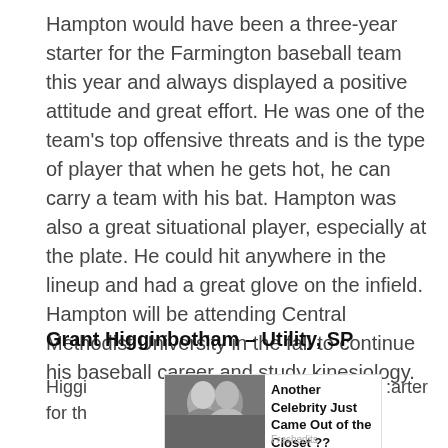Hampton would have been a three-year starter for the Farmington baseball team this year and always displayed a positive attitude and great effort. He was one of the team's top offensive threats and is the type of player that when he gets hot, he can carry a team with his bat. Hampton was also a great situational player, especially at the plate. He could hit anywhere in the lineup and had a great glove on the infield. Hampton will be attending Central Methodist University in the fall to continue his baseball career and study kinesiology.
Grant Higginbotham – Utility, SP
Higgi
[Figure (photo): Black and white photo of two people kissing]
Another Celebrity Just Came Out of the Closet ??